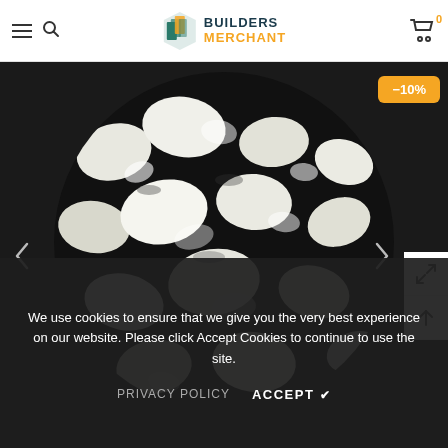Builders Merchant — navigation header with hamburger menu, search, logo, and cart (0 items)
[Figure (photo): White marble gravel/chips shown in a circular crop against a dark background. A -10% discount badge appears in the top-right corner. Side icons for expand and scroll-up appear on the right. Left and right navigation arrows are visible.]
We use cookies to ensure that we give you the very best experience on our website. Please click Accept Cookies to continue to use the site.
PRIVACY POLICY    ACCEPT ✔